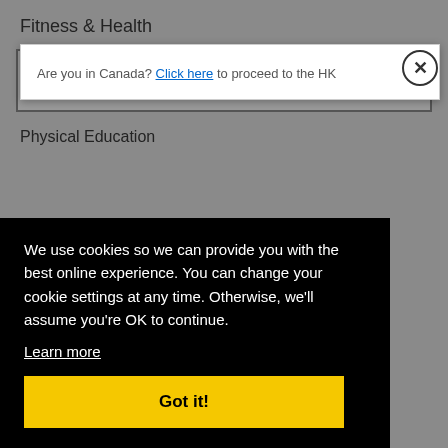Fitness & Health
Sport & Exercise Science
Physical Education
Are you in Canada? Click here to proceed to the HK
We use cookies so we can provide you with the best online experience. You can change your cookie settings at any time. Otherwise, we'll assume you're OK to continue.
Learn more
Got it!